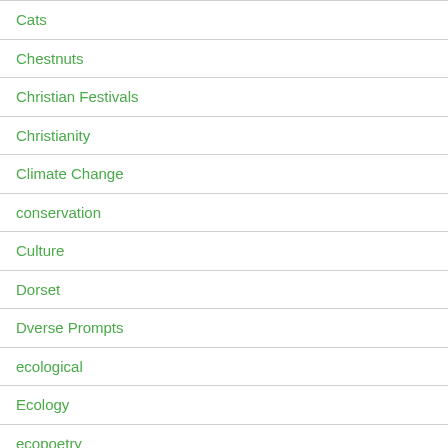Cats
Chestnuts
Christian Festivals
Christianity
Climate Change
conservation
Culture
Dorset
Dverse Prompts
ecological
Ecology
ecopoetry